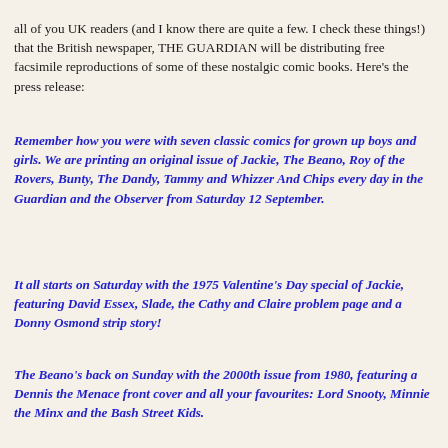all of you UK readers (and I know there are quite a few. I check these things!) that the British newspaper, THE GUARDIAN will be distributing free facsimile reproductions of some of these nostalgic comic books. Here's the press release:
Remember how you were with seven classic comics for grown up boys and girls. We are printing an original issue of Jackie, The Beano, Roy of the Rovers, Bunty, The Dandy, Tammy and Whizzer And Chips every day in the Guardian and the Observer from Saturday 12 September.
It all starts on Saturday with the 1975 Valentine's Day special of Jackie, featuring David Essex, Slade, the Cathy and Claire problem page and a Donny Osmond strip story!
The Beano's back on Sunday with the 2000th issue from 1980, featuring a Dennis the Menace front cover and all your favourites: Lord Snooty, Minnie the Minx and the Bash Street Kids.